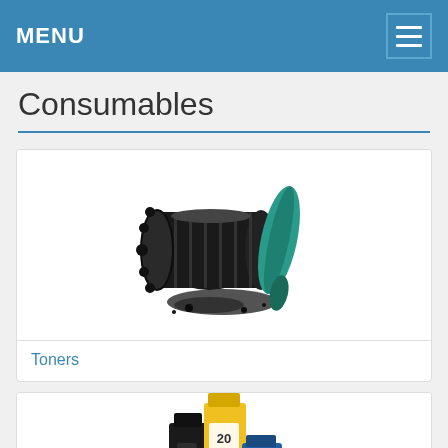MENU
Consumables
[Figure (photo): Toner cartridge with black toner powder spilled and a green drum unit beside it]
Toners
[Figure (photo): Ink cartridges: black cartridge, yellow cartridge labeled 20, and a blue cartridge]